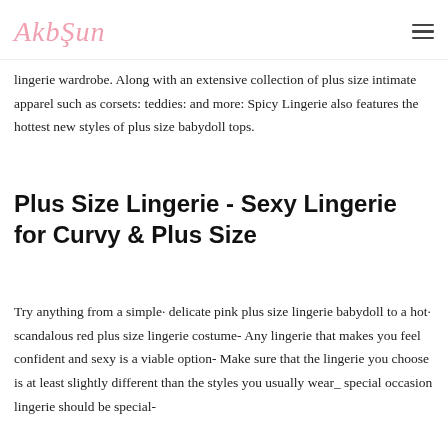AkbŞun
lingerie wardrobe. Along with an extensive collection of plus size intimate apparel such as corsets: teddies: and more: Spicy Lingerie also features the hottest new styles of plus size babydoll tops.
Plus Size Lingerie - Sexy Lingerie for Curvy & Plus Size
Try anything from a simple· delicate pink plus size lingerie babydoll to a hot· scandalous red plus size lingerie costume- Any lingerie that makes you feel confident and sexy is a viable option- Make sure that the lingerie you choose is at least slightly different than the styles you usually wear_ special occasion lingerie should be special-